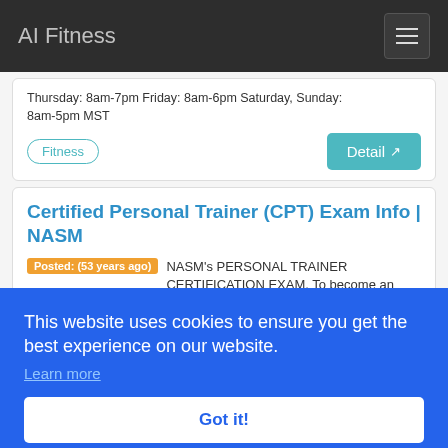AI Fitness
Thursday: 8am-7pm Friday: 8am-6pm Saturday, Sunday: 8am-5pm MST
Fitness
Detail
Certified Personal Trainer (CPT) Exam Info | NASM
Posted: (53 years ago) NASM's PERSONAL TRAINER CERTIFICATION EXAM. To become an NASM CPT you must
Detail
This website uses cookies to ensure you get the best experience on our website.
Learn more
Got it!
study guides, exam prep, and specializations here. Learn why